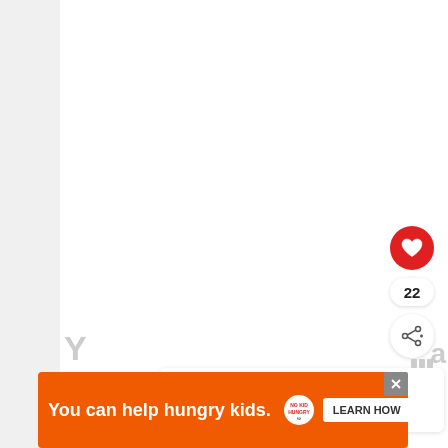[Figure (screenshot): White content area with social interaction buttons on the right side: a red heart/like button, a count of 22, and a white share button with share icon.]
[Figure (screenshot): What's Next panel showing a thumbnail image and text 'WHAT'S NEXT → 5 Things That Happen Whe...']
[Figure (screenshot): Advertisement banner in orange: 'You can help hungry kids.' with No Kid Hungry logo and 'LEARN HOW' button. Has an X close button.]